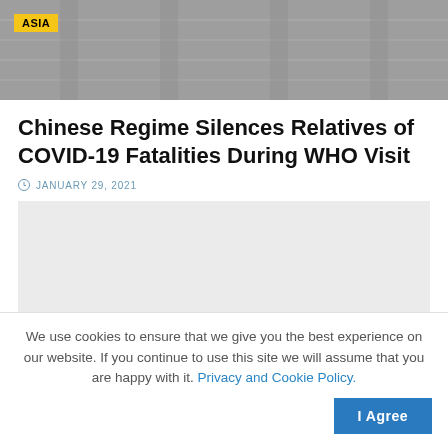[Figure (photo): Grayscale hero image of an interior corridor or hallway, with an ASIA category tag overlaid in yellow.]
Chinese Regime Silences Relatives of COVID-19 Fatalities During WHO Visit
JANUARY 29, 2021
[Figure (other): Gray advertisement placeholder block.]
We use cookies to ensure that we give you the best experience on our website. If you continue to use this site we will assume that you are happy with it. Privacy and Cookie Policy.